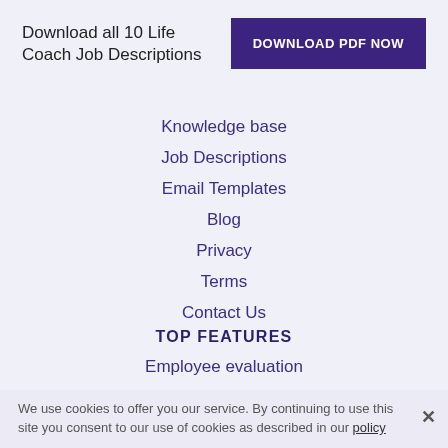Download all 10 Life Coach Job Descriptions
DOWNLOAD PDF NOW
Knowledge base
Job Descriptions
Email Templates
Blog
Privacy
Terms
Contact Us
TOP FEATURES
Employee evaluation
Post a job for free
Recruiting software
Resume parser
Resume database
We use cookies to offer you our service. By continuing to use this site you consent to our use of cookies as described in our policy